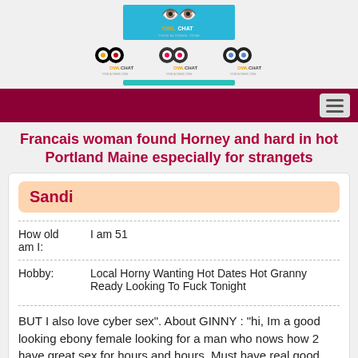[Figure (logo): OwlChat logo - blue background with owl eyes icon and OWLCHAT text, plus three smaller color variants below]
Francais woman found Horney and hard in hot Portland Maine especially for strangets
Sandi
| How old am I: | I am 51 |
| Hobby: | Local Horny Wanting Hot Dates Hot Granny Ready Looking To Fuck Tonight |
BUT I also love cyber sex". About GINNY : "hi, Im a good looking ebony female looking for a man who nows how 2 have great sex for hours and hours. Must have real good stamina cuz I like my sex long lasting! I would really love Beautiful busty women in Homer Illinois meet a nice friendly sexy rich